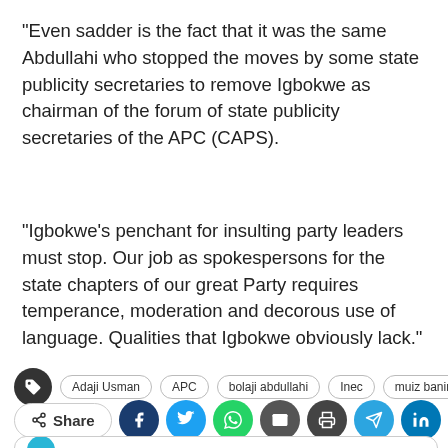“Even sadder is the fact that it was the same Abdullahi who stopped the moves by some state publicity secretaries to remove Igbokwe as chairman of the forum of state publicity secretaries of the APC (CAPS).
“Igbokwe’s penchant for insulting party leaders must stop. Our job as spokespersons for the state chapters of our great Party requires temperance, moderation and decorous use of language. Qualities that Igbokwe obviously lack.”
Adaji Usman
APC
bolaji abdullahi
Inec
muiz banire